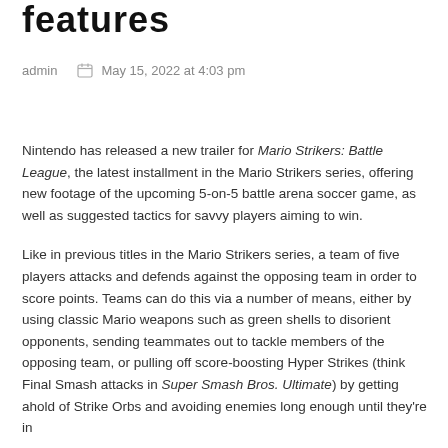features
admin   May 15, 2022 at 4:03 pm
Nintendo has released a new trailer for Mario Strikers: Battle League, the latest installment in the Mario Strikers series, offering new footage of the upcoming 5-on-5 battle arena soccer game, as well as suggested tactics for savvy players aiming to win.
Like in previous titles in the Mario Strikers series, a team of five players attacks and defends against the opposing team in order to score points. Teams can do this via a number of means, either by using classic Mario weapons such as green shells to disorient opponents, sending teammates out to tackle members of the opposing team, or pulling off score-boosting Hyper Strikes (think Final Smash attacks in Super Smash Bros. Ultimate) by getting ahold of Strike Orbs and avoiding enemies long enough until they're in